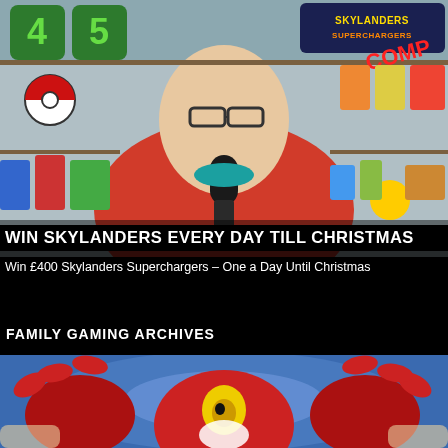[Figure (photo): YouTube video thumbnail showing a man in a red hoodie with glasses holding a microphone, surrounded by gaming collectibles and toys on shelves. Top right shows 'Skylanders Superchargers' logo with 'COMP' overlay. Top left shows numbers 4 and 5 in green.]
WIN SKYLANDERS EVERY DAY TILL CHRISTMAS
Win £400 Skylanders Superchargers – One a Day Until Christmas
FAMILY GAMING ARCHIVES
[Figure (photo): Close-up photo of a red Skylanders toy figure with large claws and a yellow eye, held by a person's hands against a blue background.]